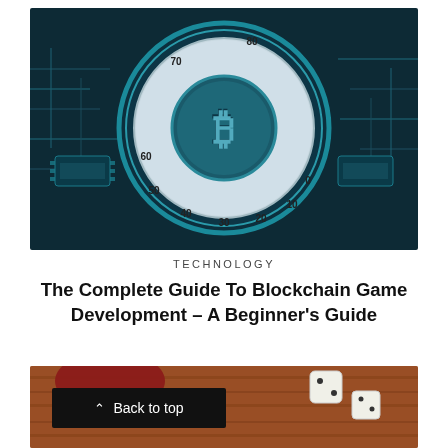[Figure (photo): A Bitcoin symbol displayed on a combination lock dial set against a dark teal circuit board background. The dial shows numbers 0-90 arranged in a circular pattern.]
TECHNOLOGY
The Complete Guide To Blockchain Game Development – A Beginner's Guide
[Figure (photo): Partial photo of a wooden surface with dice and what appears to be game pieces, partially visible at the bottom of the page.]